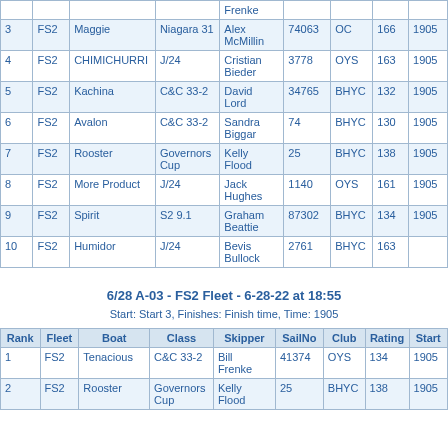| Rank | Fleet | Boat | Class | Skipper | SailNo | Club | Rating | Start |
| --- | --- | --- | --- | --- | --- | --- | --- | --- |
|  |  |  |  | Frenke |  |  |  |  |
| 3 | FS2 | Maggie | Niagara 31 | Alex McMillin | 74063 | OC | 166 | 1905 |
| 4 | FS2 | CHIMICHURRI | J/24 | Cristian Bieder | 3778 | OYS | 163 | 1905 |
| 5 | FS2 | Kachina | C&C 33-2 | David Lord | 34765 | BHYC | 132 | 1905 |
| 6 | FS2 | Avalon | C&C 33-2 | Sandra Biggar | 74 | BHYC | 130 | 1905 |
| 7 | FS2 | Rooster | Governors Cup | Kelly Flood | 25 | BHYC | 138 | 1905 |
| 8 | FS2 | More Product | J/24 | Jack Hughes | 1140 | OYS | 161 | 1905 |
| 9 | FS2 | Spirit | S2 9.1 | Graham Beattie | 87302 | BHYC | 134 | 1905 |
| 10 | FS2 | Humidor | J/24 | Bevis Bullock | 2761 | BHYC | 163 |  |
6/28 A-03 - FS2 Fleet - 6-28-22 at 18:55
Start: Start 3, Finishes: Finish time, Time: 1905
| Rank | Fleet | Boat | Class | Skipper | SailNo | Club | Rating | Start |
| --- | --- | --- | --- | --- | --- | --- | --- | --- |
| 1 | FS2 | Tenacious | C&C 33-2 | Bill Frenke | 41374 | OYS | 134 | 1905 |
| 2 | FS2 | Rooster | Governors Cup | Kelly Flood | 25 | BHYC | 138 | 1905 |